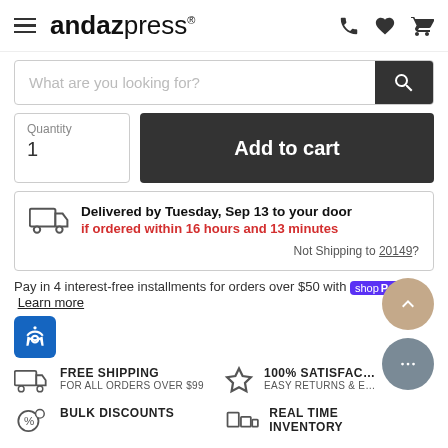andazpress
What are you looking for?
Quantity 1
Add to cart
Delivered by Tuesday, Sep 13 to your door if ordered within 16 hours and 13 minutes
Not Shipping to 20149?
Pay in 4 interest-free installments for orders over $50 with shop Pay Learn more
FREE SHIPPING FOR ALL ORDERS OVER $99
100% SATISFAC EASY RETURNS & E...
BULK DISCOUNTS
REAL TIME INVENTORY